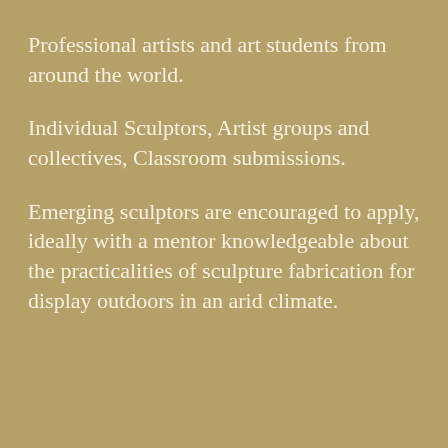Professional artists and art students from around the world.
Individual Sculptors, Artist groups and collectives, Classroom submissions.
Emerging sculptors are encouraged to apply, ideally with a mentor knowledgeable about the practicalities of sculpture fabrication for display outdoors in an arid climate.